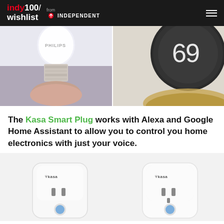indy100/wishlist from INDEPENDENT
[Figure (photo): Two-panel photo collage: left panel shows a Philips smart light bulb being held by a hand, right panel shows a Nest smart thermostat displaying '69']
The Kasa Smart Plug works with Alexa and Google Home Assistant to allow you to control you home electronics with just your voice.
[Figure (photo): Two Kasa smart plugs side by side on a white background, each showing the outlet socket and Kasa logo]